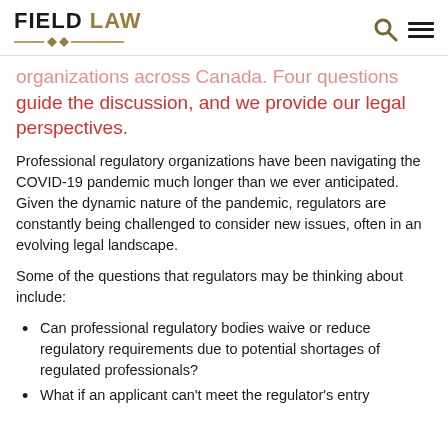FIELD LAW
organizations across Canada. Four questions guide the discussion, and we provide our legal perspectives.
Professional regulatory organizations have been navigating the COVID-19 pandemic much longer than we ever anticipated. Given the dynamic nature of the pandemic, regulators are constantly being challenged to consider new issues, often in an evolving legal landscape.
Some of the questions that regulators may be thinking about include:
Can professional regulatory bodies waive or reduce regulatory requirements due to potential shortages of regulated professionals?
What if an applicant can't meet the regulator's entry requirements due to the pandemic?